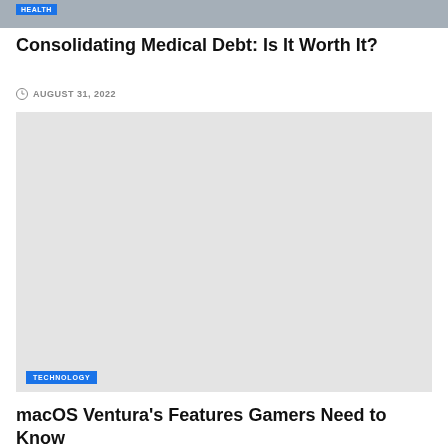[Figure (photo): Partial view of a photo related to health/medical topic with HEALTH badge overlay at top]
Consolidating Medical Debt: Is It Worth It?
AUGUST 31, 2022
[Figure (photo): Large gray placeholder image with TECHNOLOGY badge overlay at bottom left]
macOS Ventura's Features Gamers Need to Know